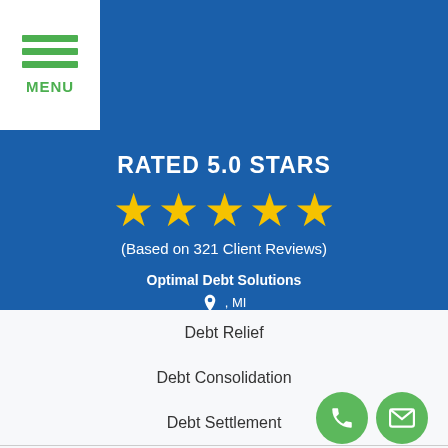[Figure (logo): Menu hamburger icon with three green horizontal lines and 'MENU' text in green on white background]
RATED 5.0 STARS
[Figure (infographic): Five gold stars rating]
(Based on 321 Client Reviews)
Optimal Debt Solutions
, MI
(844) 792-6659
M-F 9am – 6pm
Debt Relief
Debt Consolidation
Debt Settlement